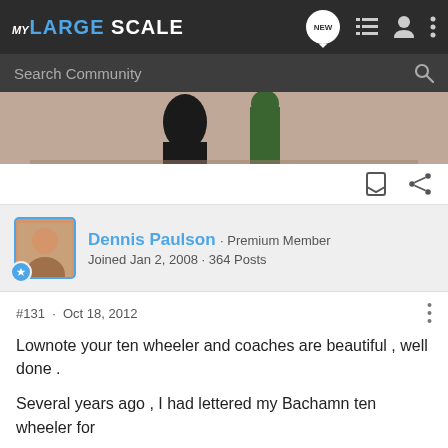MY LARGE SCALE
[Figure (screenshot): Partial image of figures/models, partially cropped, showing dark and green-colored items against a beige/tan background]
Dennis Paulson · Premium Member
Joined Jan 2, 2008 · 364 Posts
#131 · Oct 18, 2012
Lownote your ten wheeler and coaches are beautiful , well done .
Several years ago , I had lettered my Bachamn ten wheeler for